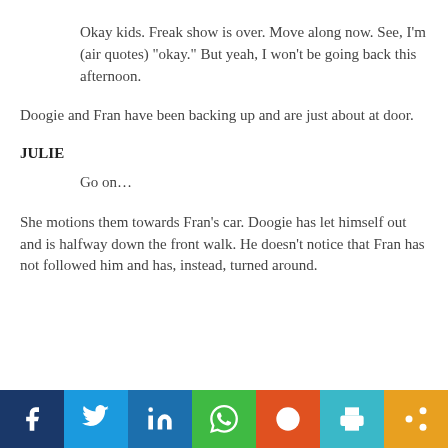Okay kids. Freak show is over. Move along now. See, I'm (air quotes) “okay.” But yeah, I won’t be going back this afternoon.
Doogie and Fran have been backing up and are just about at door.
JULIE
Go on…
She motions them towards Fran’s car. Doogie has let himself out and is halfway down the front walk. He doesn’t notice that Fran has not followed him and has, instead, turned around.
[Figure (infographic): Social sharing bar with icons for Facebook, Twitter, LinkedIn, WhatsApp, Reddit, Print, and Share]